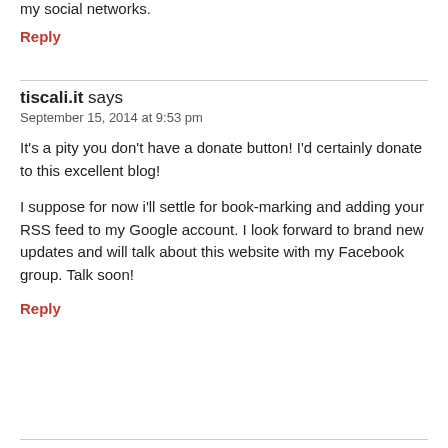my social networks.
Reply
tiscali.it says
September 15, 2014 at 9:53 pm
It's a pity you don't have a donate button! I'd certainly donate to this excellent blog!
I suppose for now i'll settle for book-marking and adding your RSS feed to my Google account. I look forward to brand new updates and will talk about this website with my Facebook group. Talk soon!
Reply